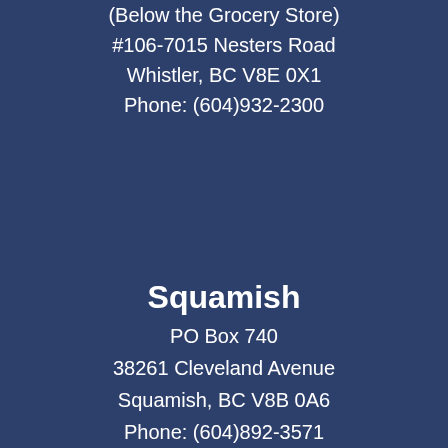(Below the Grocery Store)
#106-7015 Nesters Road
Whistler, BC V8E 0X1
Phone: (604)932-2300
Squamish
PO Box 740
38261 Cleveland Avenue
Squamish, BC V8B 0A6
Phone: (604)892-3571